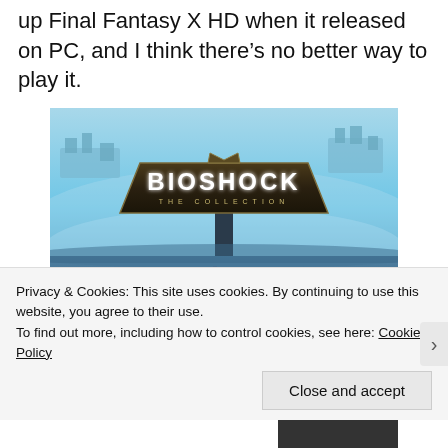up Final Fantasy X HD when it released on PC, and I think there's no better way to play it.
[Figure (photo): BioShock: The Collection promotional banner showing the game title over a misty sci-fi cityscape]
Privacy & Cookies: This site uses cookies. By continuing to use this website, you agree to their use. To find out more, including how to control cookies, see here: Cookie Policy